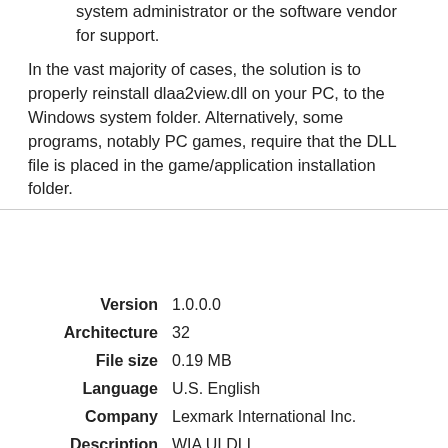system administrator or the software vendor for support.
In the vast majority of cases, the solution is to properly reinstall dlaa2view.dll on your PC, to the Windows system folder. Alternatively, some programs, notably PC games, require that the DLL file is placed in the game/application installation folder.
For detailed installation instructions, see our FAQ.
| Field | Value |
| --- | --- |
| Version | 1.0.0.0 |
| Architecture | 32 |
| File size | 0.19 MB |
| Language | U.S. English |
| Company | Lexmark International Inc. |
| Description | WIA UI DLL |
MD5: ef808d785f5e7220fdbf29abdc79b69E